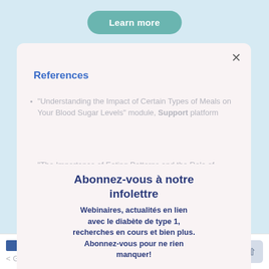Learn more
References
"Understanding the Impact of Certain Types of Meals on Your Blood Sugar Levels" module, Support platform
"The Importance of Eating Patterns and the Role of Snacks" module, Support platform
Abonnez-vous à notre infolettre
Webinaires, actualités en lien avec le diabète de type 1, recherches en cours et bien plus. Abonnez-vous pour ne rien manquer!
Posts
Glucagon: Friend of ... people With Type